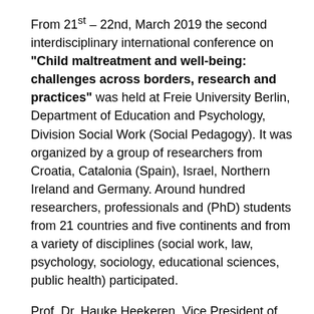From 21st – 22nd, March 2019 the second interdisciplinary international conference on "Child maltreatment and well-being: challenges across borders, research and practices" was held at Freie University Berlin, Department of Education and Psychology, Division Social Work (Social Pedagogy). It was organized by a group of researchers from Croatia, Catalonia (Spain), Israel, Northern Ireland and Germany. Around hundred researchers, professionals and (PhD) students from 21 countries and five continents and from a variety of disciplines (social work, law, psychology, sociology, educational sciences, public health) participated.
Prof. Dr. Hauke Heekeren, Vice President of Freie University Berlin, emphasized in his welcoming address international cooperation as a constitutive element of the Freie University Berlin since it was founded in 1948. Prof. Dr. Ulrike Urban-Stahl, head of the host institution, the